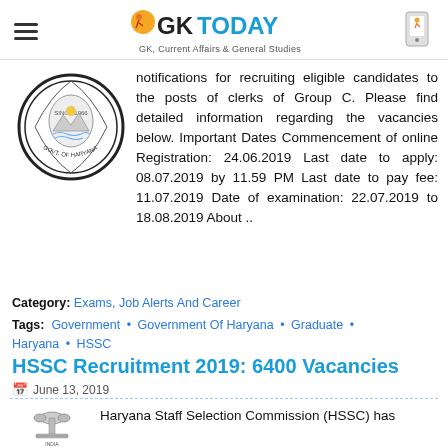GKToday – GK, Current Affairs & General Studies
[Figure (logo): Government of Haryana seal/emblem (circular badge)]
notifications for recruiting eligible candidates to the posts of clerks of Group C. Please find detailed information regarding the vacancies below. Important Dates Commencement of online Registration: 24.06.2019 Last date to apply: 08.07.2019 by 11.59 PM Last date to pay fee: 11.07.2019 Date of examination: 22.07.2019 to 18.08.2019 About ..
Category: Exams, Job Alerts And Career
Tags: Government • Government Of Haryana • Graduate • Haryana • HSSC
HSSC Recruitment 2019: 6400 Vacancies
June 13, 2019
[Figure (logo): HSSC / Government of India emblem (Ashoka pillar seal)]
Haryana Staff Selection Commission (HSSC) has